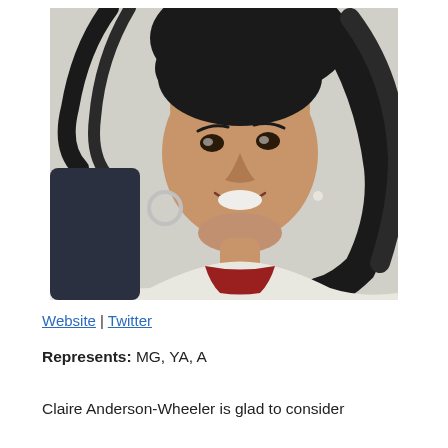[Figure (photo): Portrait photo of a woman with dark shoulder-length hair, smiling, wearing a white jacket with a red top, hoop earrings and a small pearl earring, photographed outdoors with a light background.]
Website | Twitter
Represents: MG, YA, A
Claire Anderson-Wheeler is glad to consider